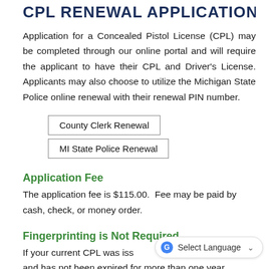CPL RENEWAL APPLICATION
Application for a Concealed Pistol License (CPL) may be completed through our online portal and will require the applicant to have their CPL and Driver's License. Applicants may also choose to utilize the Michigan State Police online renewal with their renewal PIN number.
County Clerk Renewal
MI State Police Renewal
Application Fee
The application fee is $115.00. Fee may be paid by cash, check, or money order.
Fingerprinting is Not Required
If your current CPL was issued after 2006 and has not been expired for more than one year, you should not have to be fingerprinted for your